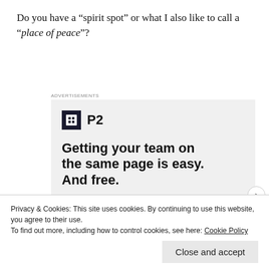Do you have a “spirit spot” or what I also like to call a “place of peace”?
[Figure (screenshot): Advertisement for P2 (WordPress P2 theme) showing a dark logo icon with 'P2' text, headline 'Getting your team on the same page is easy. And free.' and three circular avatar photos plus a blue circle with a plus sign.]
Privacy & Cookies: This site uses cookies. By continuing to use this website, you agree to their use.
To find out more, including how to control cookies, see here: Cookie Policy
Close and accept